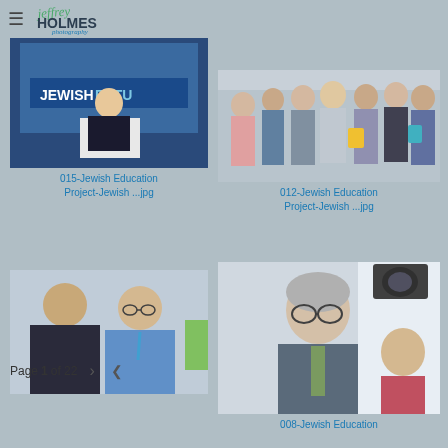Jeffrey Holmes Photography
[Figure (photo): Man speaking at podium on stage with Jewish Future backdrop]
015-Jewish Education Project-Jewish ...jpg
[Figure (photo): Group of people mingling at a conference/event]
012-Jewish Education Project-Jewish ...jpg
[Figure (photo): Two men talking at an event, one wearing a blue lanyard]
[Figure (photo): Older man with glasses speaking with a young woman]
008-Jewish Education
Page 1 of 22